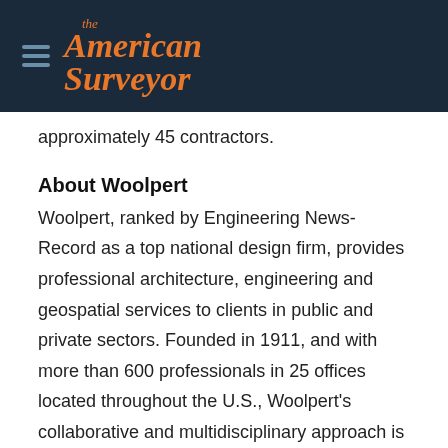The American Surveyor
approximately 45 contractors.
About Woolpert
Woolpert, ranked by Engineering News-Record as a top national design firm, provides professional architecture, engineering and geospatial services to clients in public and private sectors. Founded in 1911, and with more than 600 professionals in 25 offices located throughout the U.S., Woolpert’s collaborative and multidisciplinary approach is driven by great people, great clients and great projects. For more information on Woolpert, visit Woolpert.com. Woolpert Labs is a cross-functional group of industry leaders who are focused on